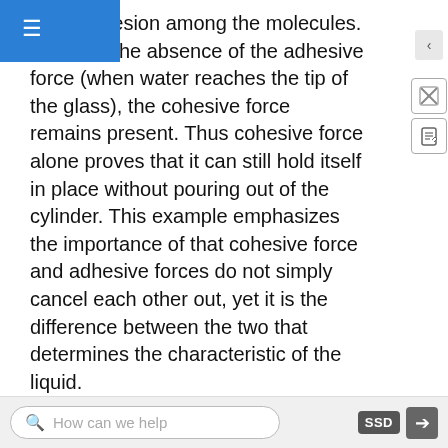n the cohesion among the molecules. However, he absence of the adhesive force (when water reaches the tip of the glass), the cohesive force remains present. Thus cohesive force alone proves that it can still hold itself in place without pouring out of the cylinder. This example emphasizes the importance of that cohesive force and adhesive forces do not simply cancel each other out, yet it is the difference between the two that determines the characteristic of the liquid.
3. This problem addresses once again the concept of surface tension. Because the cohesion of the water is built on the weak intermolecular forces of the water, when a water strider stepson to the surface, an extra energy will be necessary to overcome to break those bonds to increase surface area.